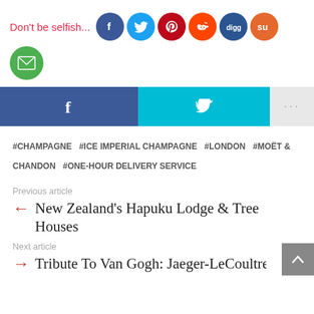Don't be selfish...
[Figure (infographic): Social sharing icons row: Facebook (blue circle), Twitter (light blue circle), Pinterest (dark red circle), Reddit (orange-red circle), Digg (dark blue circle), StumbleUpon (orange circle), Email (green circle)]
[Figure (infographic): Share bar with Facebook button (dark blue), Twitter button (cyan), and more button (gray with ellipsis)]
#CHAMPAGNE  #ICE IMPERIAL CHAMPAGNE  #LONDON  #MOËT & CHANDON  #ONE-HOUR DELIVERY SERVICE
Previous article
← New Zealand's Hapuku Lodge & Tree Houses
Next article
→ Tribute To Van Gogh: Jaeger-LeCoultre